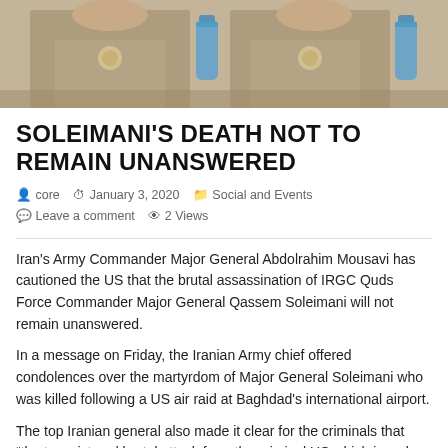[Figure (photo): Photo of a man in military uniform seated at a table, with a water bottle visible in the background. Two figures visible side by side.]
SOLEIMANI'S DEATH NOT TO REMAIN UNANSWERED
core   January 3, 2020   Social and Events   Leave a comment   2 Views
Iran's Army Commander Major General Abdolrahim Mousavi has cautioned the US that the brutal assassination of IRGC Quds Force Commander Major General Qassem Soleimani will not remain unanswered.
In a message on Friday, the Iranian Army chief offered condolences over the martyrdom of Major General Soleimani who was killed following a US air raid at Baghdad's international airport.
The top Iranian general also made it clear for the criminals that "the terrorist and brutal attack from the criminal US which is a clear sign of the US government's terrorist temperament will not remain unanswered."